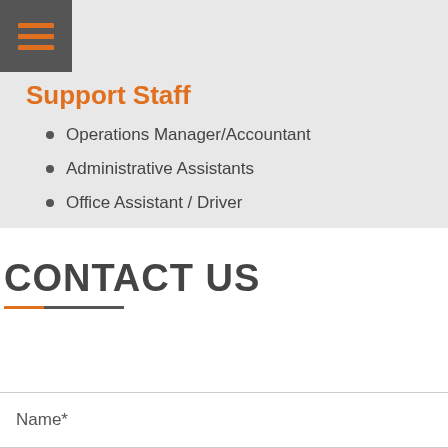[Figure (logo): Dark gray square icon with three orange horizontal lines, resembling a menu/list icon]
Support Staff
Operations Manager/Accountant
Administrative Assistants
Office Assistant / Driver
CONTACT US
Name*